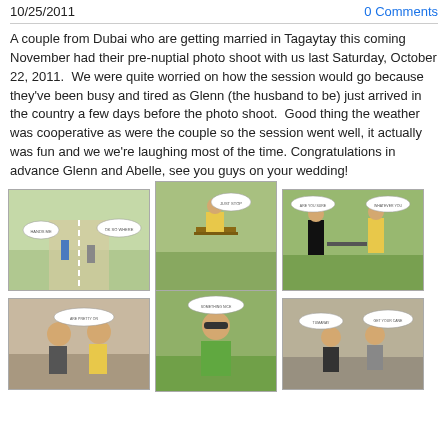10/25/2011
0 Comments
A couple from Dubai who are getting married in Tagaytay this coming November had their pre-nuptial photo shoot with us last Saturday, October 22, 2011. We were quite worried on how the session would go because they've been busy and tired as Glenn (the husband to be) just arrived in the country a few days before the photo shoot. Good thing the weather was cooperative as were the couple so the session went well, it actually was fun and we we're laughing most of the time. Congratulations in advance Glenn and Abelle, see you guys on your wedding!
[Figure (photo): Pre-nuptial photo 1: couple running on a road with speech bubbles]
[Figure (photo): Pre-nuptial photo 2: man sitting on bench with speech bubble]
[Figure (photo): Pre-nuptial photo 3: couple facing each other with speech bubbles and gun prop]
[Figure (photo): Pre-nuptial photo 4: couple laughing with speech bubble]
[Figure (photo): Pre-nuptial photo 5: woman with sunglasses and speech bubble]
[Figure (photo): Pre-nuptial photo 6: couple sitting outdoors with speech bubbles]